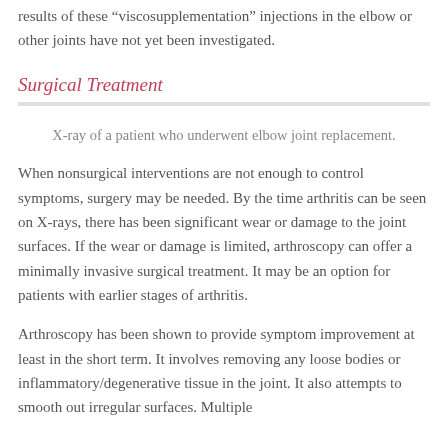results of these “viscosupplementation” injections in the elbow or other joints have not yet been investigated.
Surgical Treatment
X-ray of a patient who underwent elbow joint replacement.
When nonsurgical interventions are not enough to control symptoms, surgery may be needed. By the time arthritis can be seen on X-rays, there has been significant wear or damage to the joint surfaces. If the wear or damage is limited, arthroscopy can offer a minimally invasive surgical treatment. It may be an option for patients with earlier stages of arthritis.
Arthroscopy has been shown to provide symptom improvement at least in the short term. It involves removing any loose bodies or inflammatory/degenerative tissue in the joint. It also attempts to smooth out irregular surfaces. Multiple